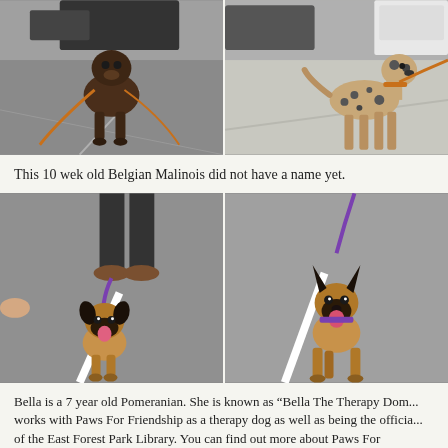[Figure (photo): Dog on leash walking toward camera on pavement, brown/brindle coloring with orange leash]
[Figure (photo): Spotted dog standing on pavement with orange leash, cars in background]
This 10 wek old Belgian Malinois did not have a name yet.
[Figure (photo): Belgian Malinois puppy looking up at camera on leash with purple lead, person's feet visible]
[Figure (photo): Belgian Malinois puppy walking toward camera with tongue out on pavement]
Bella is a 7 year old Pomeranian.  She is known as “Bella The Therapy Dom... works with Paws For Friendship as a therapy dog as well as being the officia... of the East Forest Park Library.  You can find out more about Paws For Friendship here.  You can also contact Bella at bellatherapydog@gmail.com